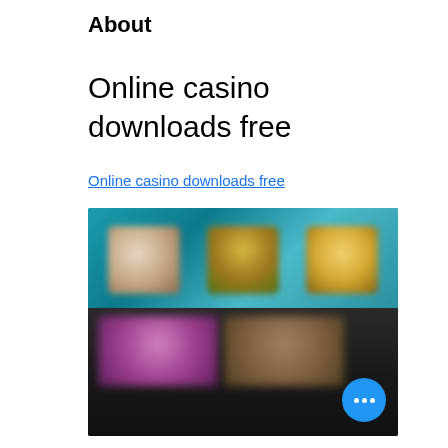About
Online casino downloads free
Online casino downloads free
[Figure (screenshot): A blurred screenshot of an online casino interface showing colorful game thumbnails on a teal/dark background, with a blue floating action button with three dots in the bottom right corner.]